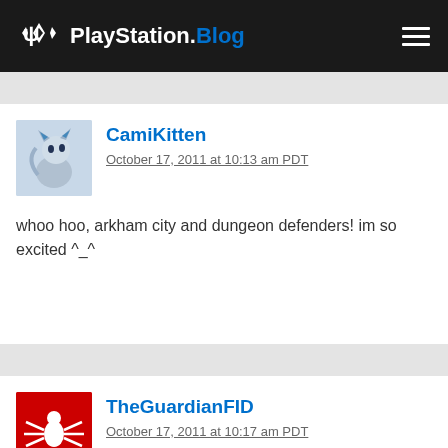PlayStation.Blog
CamiKitten
October 17, 2011 at 10:13 am PDT
whoo hoo, arkham city and dungeon defenders! im so excited ^_^
TheGuardianFID
October 17, 2011 at 10:17 am PDT